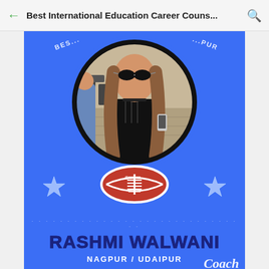Best International Education Career Couns...
[Figure (illustration): Blue promotional card with circular photo frame showing a young woman with sunglasses and long hair, football graphic, stars, dotted divider line, name RASHMI WALWANI, location NAGPUR / UDAIPUR, and cursive text partially visible at bottom]
RASHMI WALWANI
NAGPUR / UDAIPUR